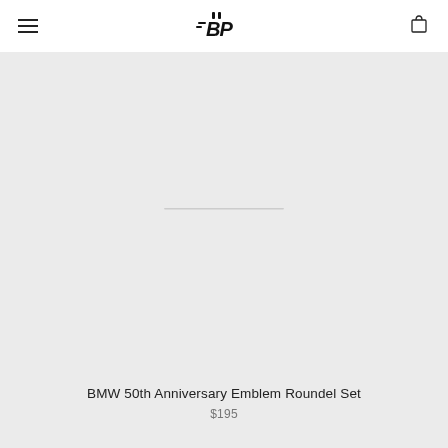BP logo header with hamburger menu and cart icon
On sale
[Figure (photo): Product image area showing BMW 50th Anniversary Emblem Roundel Set on light gray background]
BMW 50th Anniversary Emblem Roundel Set
$195